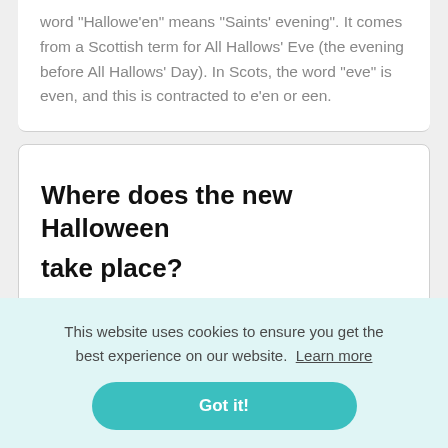word "Hallowe'en" means "Saints' evening". It comes from a Scottish term for All Hallows' Eve (the evening before All Hallows' Day). In Scots, the word "eve" is even, and this is contracted to e'en or een.
Where does the new Halloween take place?
This website uses cookies to ensure you get the best experience on our website.  Learn more
Got it!